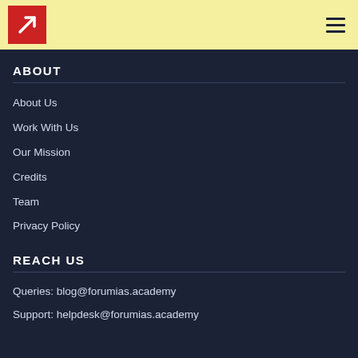[Figure (logo): Forum IAS logo: red box with white arrow pointing up-right]
ABOUT
About Us
Work With Us
Our Mission
Credits
Team
Privacy Policy
REACH US
Queries: blog@forumias.academy
Support: helpdesk@forumias.academy